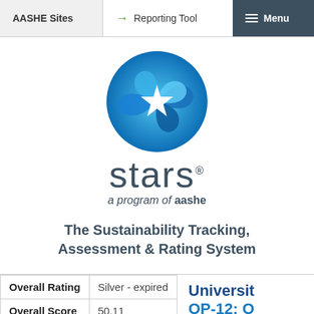AASHE Sites   → Reporting Tool   Menu
[Figure (logo): STARS logo - circular blue swirl with white star, text 'stars® a program of aashe']
The Sustainability Tracking, Assessment & Rating System
| Overall Rating | Silver - expired |
| Overall Score | 50.11 |
University OP-12: O